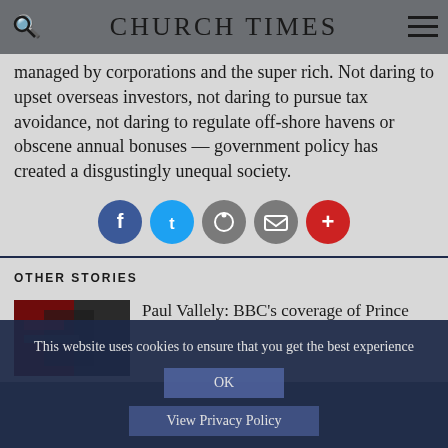CHURCH TIMES
managed by corporations and the super rich. Not daring to upset overseas investors, not daring to pursue tax avoidance, not daring to regulate off-shore havens or obscene annual bonuses — government policy has created a disgustingly unequal society.
[Figure (infographic): Social sharing buttons: Facebook (blue), Twitter (cyan), Reddit (grey), Email (grey), More/Plus (red)]
OTHER STORIES
[Figure (photo): Thumbnail image for Paul Vallely article, dark/red tones]
Paul Vallely: BBC's coverage of Prince
This website uses cookies to ensure that you get the best experience
OK
View Privacy Policy